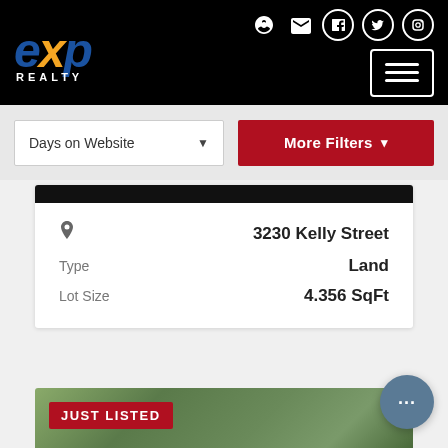[Figure (logo): eXp Realty logo in white/blue/orange on black header background]
Days on Website
More Filters
3230 Kelly Street
Type   Land
Lot Size   4.356 SqFt
[Figure (photo): Aerial photo of land property with trees and road, JUST LISTED badge overlaid]
JUST LISTED